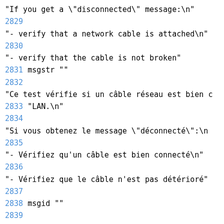"If you get a \"disconnected\" message:\n"
2829
"- verify that a network cable is attached\n"
2830
"- verify that the cable is not broken"
2831 msgstr ""
2832
"Ce test vérifie si un câble réseau est bien c
2833 "LAN.\n"
2834
"Si vous obtenez le message \"déconnecté\":\n
2835
"- Vérifiez qu'un câble est bien connecté\n"
2836
"- Vérifiez que le câble n'est pas détérioré"
2837
2838 msgid ""
2839
"This test checks whether a valid IP Address i
2840